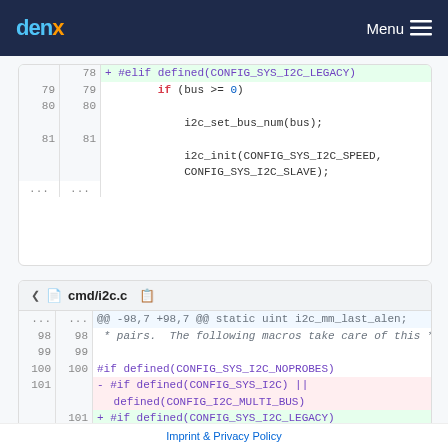denx  Menu
[Figure (screenshot): Code diff showing i2c init code: lines 78-81 with if (bus >= 0), i2c_set_bus_num(bus), and i2c_init(CONFIG_SYS_I2C_SPEED, CONFIG_SYS_I2C_SLAVE)]
cmd/i2c.c
[Figure (screenshot): Code diff for cmd/i2c.c showing lines 98-101: comment about pairs and macros, #if defined(CONFIG_SYS_I2C_NOPROBES), deleted line #if defined(CONFIG_SYS_I2C) || defined(CONFIG_I2C_MULTI_BUS), and added line #if defined(CONFIG_SYS_I2C_LEGACY)]
Imprint & Privacy Policy